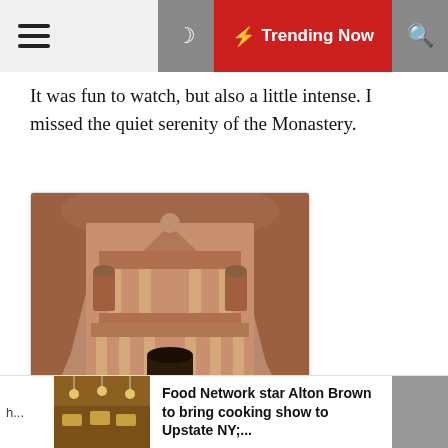☰  🌙  ⚡ Trending Now  🔍
It was fun to watch, but also a little intense. I missed the quiet serenity of the Monastery.
[Figure (photo): Photo of the Treasury at Petra, Jordan, carved into rose-red sandstone cliffs. People and camels in foreground.]
The Treasury
Food Network star Alton Brown to bring cooking show to Upstate NY;...